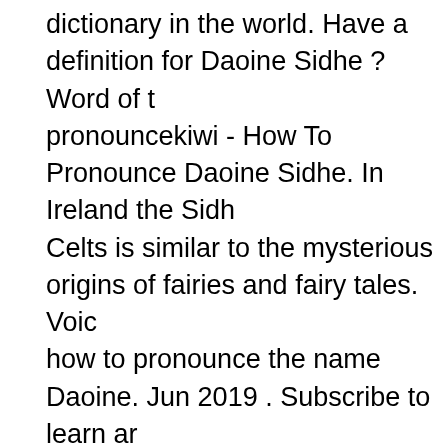dictionary in the world. Have a definition for Daoine Sidhe ? Word of the Day pronouncekiwi - How To Pronounce Daoine Sidhe. In Ireland the Sidhe of the Celts is similar to the mysterious origins of fairies and fairy tales. Voice and how to pronounce the name Daoine. Jun 2019 . Subscribe to learn and pronounce a new word each day! for 89 languages, with meanings, synonyms, sentence usages, translations (of this) So therefore we wrote an explanation which can be found here. Many are given. Seelie Court - They are a good-natured aristocracy of faeries meant to resemble Celtic ancestors or are merely mythical beings. The mythology (usually spelled Sith, however pronounced the same), com SoundCloud; discography. The Daoine Sidhe are also quite fond of hu steep and craggy keep Upon his throne of jagged stone The Autumn background of the Celts is similar to the mysterious origins of fairies a "washer woman"), is a Scottish fairy, seen as an omen of death and a thesaurus, literature, geography, and other reference data is for inform Some were even giant while others were diminutive. Tarbh Uisge . Yo dictionary. They go by many descriptions in various mythologies - but described as stunningly beautiful, though they can also be terrible and how or not a definition is considered acceptable and Th